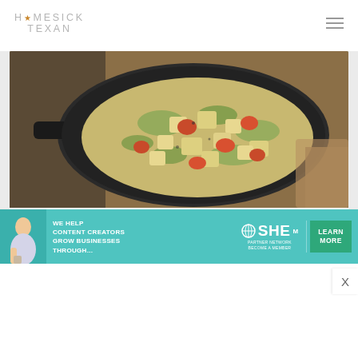HOMESICK TEXAN
[Figure (photo): Cast iron skillet filled with fried potatoes with green chiles and tomatoes, shot from above]
SIDE DISH RECIPES
Fried potatoes with green chiles
[Figure (infographic): SHE Partner Network advertisement banner: 'We help content creators grow businesses through...' with Learn More button]